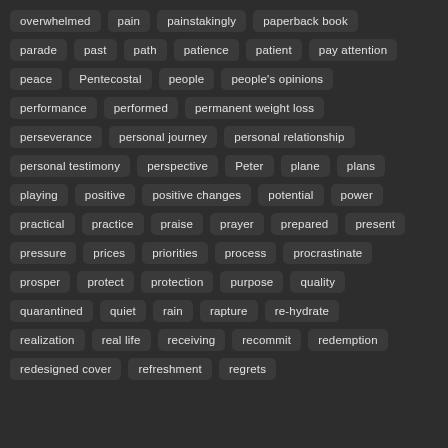overwhelmed
pain
painstakingly
paperback book
parade
past
path
patience
patient
pay attention
peace
Pentecostal
people
people's opinions
performance
performed
permanent weight loss
perseverance
personal journey
personal relationship
personal testimony
perspective
Peter
plane
plans
playing
positive
positive changes
potential
power
practical
practice
praise
prayer
prepared
present
pressure
prices
priorities
process
procrastinate
prosper
protect
protection
purpose
quality
quarantined
quiet
rain
rapture
re-hydrate
realization
real life
receiving
recommit
redemption
redesigned cover
refreshment
regrets